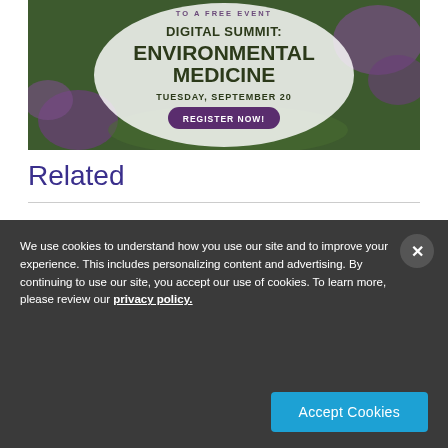[Figure (illustration): Advertisement banner for Digital Summit: Environmental Medicine event on Tuesday, September 20, with a Register Now button, shown over a background of purple wildflowers.]
Related
We use cookies to understand how you use our site and to improve your experience. This includes personalizing content and advertising. By continuing to use our site, you accept our use of cookies. To learn more, please review our privacy policy.